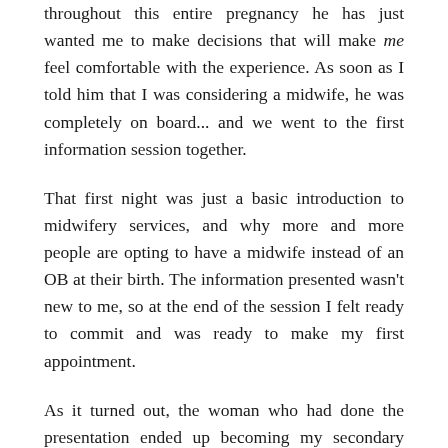throughout this entire pregnancy he has just wanted me to make decisions that will make me feel comfortable with the experience. As soon as I told him that I was considering a midwife, he was completely on board... and we went to the first information session together.
That first night was just a basic introduction to midwifery services, and why more and more people are opting to have a midwife instead of an OB at their birth. The information presented wasn't new to me, so at the end of the session I felt ready to commit and was ready to make my first appointment.
As it turned out, the woman who had done the presentation ended up becoming my secondary midwife.
With this group, each woman is assigned to a primary midwife. For the most part, this midwife will complete most of your prenatal check-ups and spend several weeks developing a relationship with you. But, as babies are not